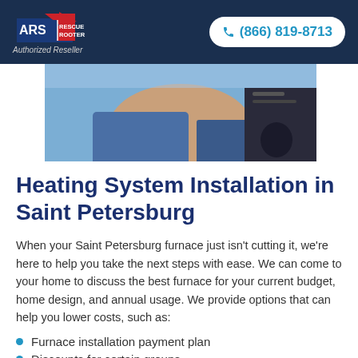ARS Rescue Rooter | Authorized Reseller | (866) 819-8713
[Figure (photo): A technician working on a heating system, hands visible working on equipment, blue uniform visible]
Heating System Installation in Saint Petersburg
When your Saint Petersburg furnace just isn't cutting it, we're here to help you take the next steps with ease. We can come to your home to discuss the best furnace for your current budget, home design, and annual usage. We provide options that can help you lower costs, such as:
Furnace installation payment plan
Discounts for certain groups